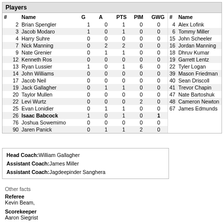Players
| # | Name | G | A | PTS | PIM | GWG | # | Name | G | A | PT |
| --- | --- | --- | --- | --- | --- | --- | --- | --- | --- | --- | --- |
| 2 | Brian Spengler | 1 | 0 | 1 | 0 | 0 | 4 | Alex Lofink | 0 | 0 | 0 |
| 3 | Jacob Modaro | 1 | 0 | 1 | 0 | 0 | 6 | Tommy Miller | 0 | 0 | 0 |
| 4 | Harry Suhre | 0 | 0 | 0 | 0 | 0 | 15 | John Scheeler | 0 | 0 | 0 |
| 7 | Nick Manning | 0 | 2 | 2 | 0 | 0 | 16 | Jordan Manning | 0 | 1 | 1 |
| 9 | Nate Grenier | 0 | 1 | 1 | 0 | 0 | 18 | Dhruv Kumar | 0 | 0 | 0 |
| 12 | Kenneth Ros | 0 | 0 | 0 | 0 | 0 | 19 | Garrett Lentz | 0 | 0 | 0 |
| 13 | Ryan Lussier | 1 | 0 | 1 | 6 | 0 | 22 | Tyler Logan | 0 | 0 | 0 |
| 14 | John Williams | 0 | 0 | 0 | 0 | 0 | 39 | Mason Friedman | 1 | 0 | 1 |
| 17 | Jacob Neil | 0 | 0 | 0 | 0 | 0 | 40 | Sean Driscoll | 0 | 0 | 0 |
| 19 | Jack Gallagher | 0 | 1 | 1 | 0 | 0 | 41 | Trevor Chapin | 0 | 0 | 0 |
| 20 | Taylor Mullen | 0 | 0 | 0 | 0 | 0 | 47 | Nate Bartoshuk | 0 | 1 | 1 |
| 22 | Levi Wurtz | 0 | 0 | 0 | 2 | 0 | 48 | Cameron Newton | 0 | 0 | 0 |
| 25 | Evan Lonidier | 0 | 1 | 1 | 0 | 0 | 67 | James Edmunds | 0 | 0 | 0 |
| 26 | Isaac Babcock | 1 | 0 | 1 | 0 | 1 |  |  |  |  |  |
| 76 | Joshua Sowemimo | 0 | 0 | 0 | 0 | 0 |  |  |  |  |  |
| 90 | Jaren Panick | 0 | 1 | 1 | 2 | 0 |  |  |  |  |  |
Head Coach: William Gallagher
Assistant Coach: James Miller
Assistant Coach: Jagdeepinder Sanghera
Other facts
Referee
Kevin Beam,
Scorekeeper
Aaron Siegrist